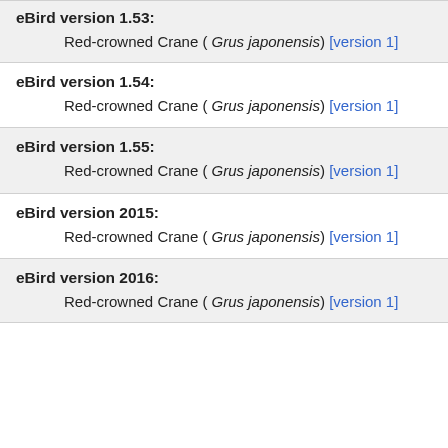eBird version 1.53: Red-crowned Crane ( Grus japonensis) [version 1]
eBird version 1.54: Red-crowned Crane ( Grus japonensis) [version 1]
eBird version 1.55: Red-crowned Crane ( Grus japonensis) [version 1]
eBird version 2015: Red-crowned Crane ( Grus japonensis) [version 1]
eBird version 2016: Red-crowned Crane ( Grus japonensis) [version 1]